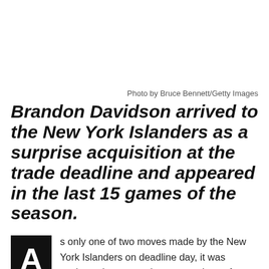Photo by Bruce Bennett/Getty Images
Brandon Davidson arrived to the New York Islanders as a surprise acquisition at the trade deadline and appeared in the last 15 games of the season.
s only one of two moves made by the New York Islanders on deadline day, it was unclear what was to be expected out of
Brandon Davidson